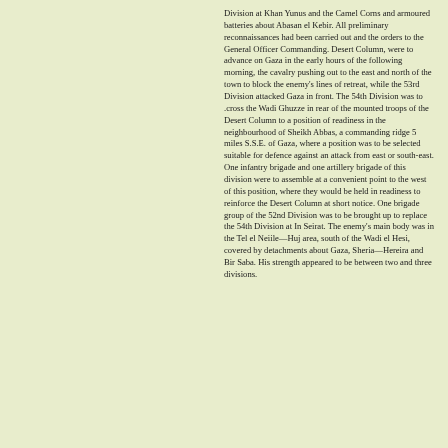Division at Khan Yunus and the Camel Corns and armoured batteries about Abasan el Kebir. All preliminary reconnaissances had been carried out and the orders to the General Officer Commanding. Desert Column, were to advance on Gaza in the early hours of the following morning, the cavalry pushing out to the east and north of the town to block the enemy's lines of retreat, while the 53rd Division attacked Gaza in front. The 54th Division was to .cross the Wadi Ghuzze in rear of the mounted troops of the Desert Column to a position of readiness in the neighbourhood of Sheikh Abbas, a commanding ridge 5 miles S.S.E. of Gaza, where a position was to be selected suitable for defence against an attack from east or south-east. One infantry brigade and one artillery brigade of this division were to assemble at a convenient point to the west of this position, where they would be held in readiness to reinforce the Desert Column at short notice. One brigade group of the 52nd Division was to be brought up to replace the 54th Division at In Seirat. The enemy's main body was in the Tel el Neiile—Huj area, south of the Wadi el Hesi, covered by detachments about Gaza, Sheria—Hereira and Bir Saba. His strength appeared to be between two and three divisions.